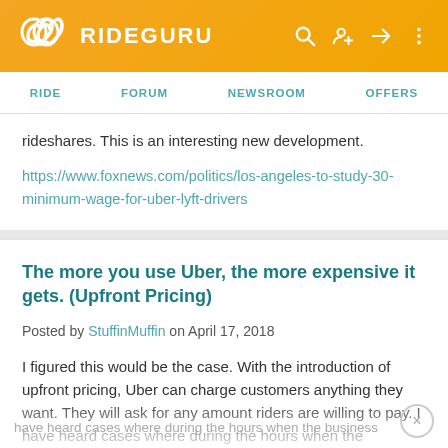RIDEGURU — RIDE | FORUM | NEWSROOM | OFFERS
rideshares. This is an interesting new development.
https://www.foxnews.com/politics/los-angeles-to-study-30-minimum-wage-for-uber-lyft-drivers
The more you use Uber, the more expensive it gets. (Upfront Pricing)
Posted by StuffinMuffin on April 17, 2018
I figured this would be the case.  With the introduction of upfront pricing, Uber can charge customers anything they want.  They will ask for any amount riders are willing to pay.  I have heard cases where during the hours when the business